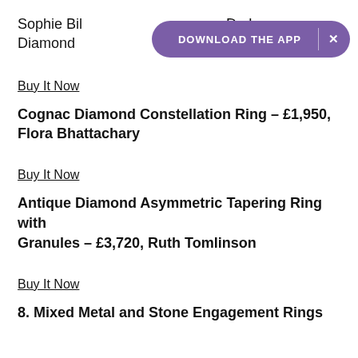Sophie Bill... De Lune Diamond...
[Figure (other): Purple pill-shaped app download banner with text 'DOWNLOAD THE APP' and an X close button]
Buy It Now
Cognac Diamond Constellation Ring – £1,950, Flora Bhattachary
Buy It Now
Antique Diamond Asymmetric Tapering Ring with Granules – £3,720, Ruth Tomlinson
Buy It Now
8. Mixed Metal and Stone Engagement Rings